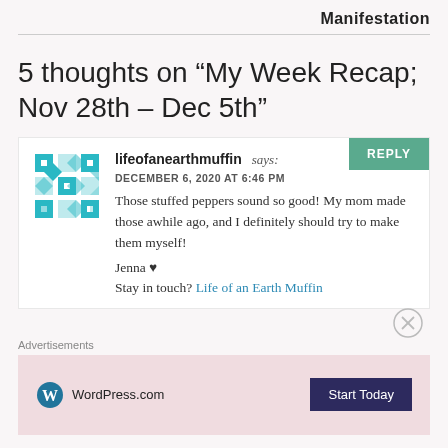Manifestation
5 thoughts on “My Week Recap; Nov 28th – Dec 5th”
lifeofanearthmuffin says:
DECEMBER 6, 2020 AT 6:46 PM
Those stuffed peppers sound so good! My mom made those awhile ago, and I definitely should try to make them myself!
Jenna ♥
Stay in touch? Life of an Earth Muffin
Advertisements
WordPress.com Start Today